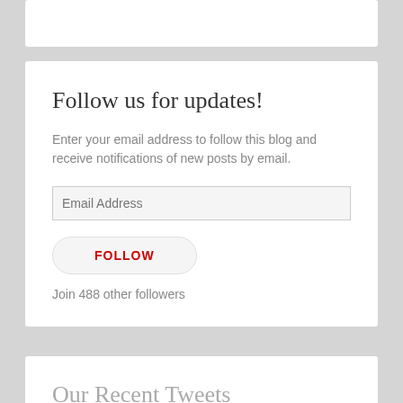Follow us for updates!
Enter your email address to follow this blog and receive notifications of new posts by email.
Email Address
FOLLOW
Join 488 other followers
Our Recent Tweets
Tweets from @the_backloggers